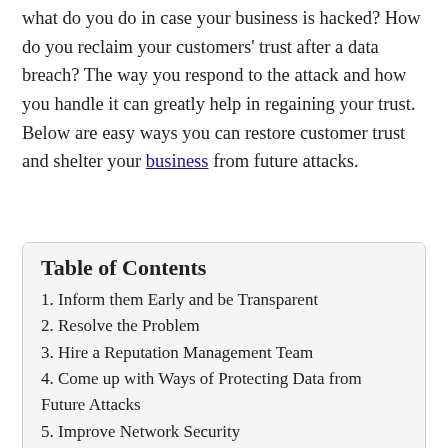what do you do in case your business is hacked? How do you reclaim your customers' trust after a data breach? The way you respond to the attack and how you handle it can greatly help in regaining your trust. Below are easy ways you can restore customer trust and shelter your business from future attacks.
Table of Contents
1. Inform them Early and be Transparent
2. Resolve the Problem
3. Hire a Reputation Management Team
4. Come up with Ways of Protecting Data from Future Attacks
5. Improve Network Security
6. The Bottom Line